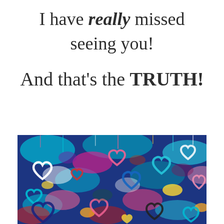I have really missed seeing you!
And that's the TRUTH!
[Figure (illustration): Colorful graffiti wall covered with overlapping spray-painted hearts in many colors including blue, pink, teal, white, yellow, red, and black, with paint drips visible.]